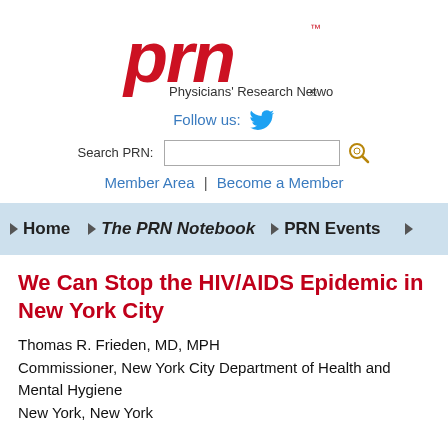[Figure (logo): PRN Physicians' Research Network logo with red stylized 'prn' text and subtitle]
Follow us:
Search PRN:
Member Area | Become a Member
Home  The PRN Notebook  PRN Events
We Can Stop the HIV/AIDS Epidemic in New York City
Thomas R. Frieden, MD, MPH
Commissioner, New York City Department of Health and Mental Hygiene
New York, New York